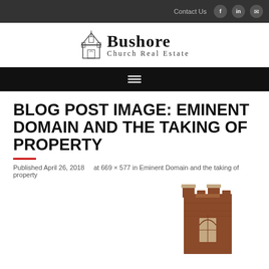Contact Us
[Figure (logo): Bushore Church Real Estate logo with church building illustration]
BLOG POST IMAGE: EMINENT DOMAIN AND THE TAKING OF PROPERTY
Published April 26, 2018   at 669 × 577 in Eminent Domain and the taking of property
[Figure (photo): Partial image of a brick church tower with gothic architectural elements]